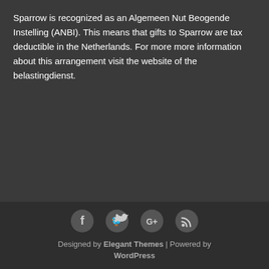Sparrow is recognized as an Algemeen Nut Beogende Instelling (ANBI). This means that gifts to Sparrow are tax deductible in the Netherlands. For more more information about this arrangement visit the website of the belastingdienst.
[Figure (infographic): Social media icons row: Facebook (f), Twitter (bird), Google+, RSS feed icons in gray circles]
Designed by Elegant Themes | Powered by WordPress